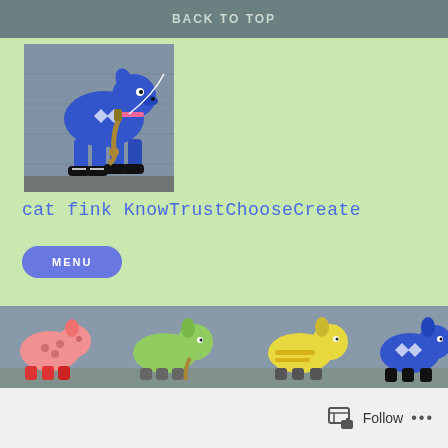BACK TO TOP
[Figure (illustration): Colorful folk art painting of a blue dog wearing sneakers and a pink collar, carrying a saxophone, on a grey textured background]
cat fink KnowTrustChooseCreate
MENU
[Figure (illustration): Banner strip showing colorful folk art animals (pink pig, green dog, yellow dog, blue dog) all wearing sneakers/roller skates, in a row on a grey background]
BELIEF, CREATIVITY, LOVE
Follow ...